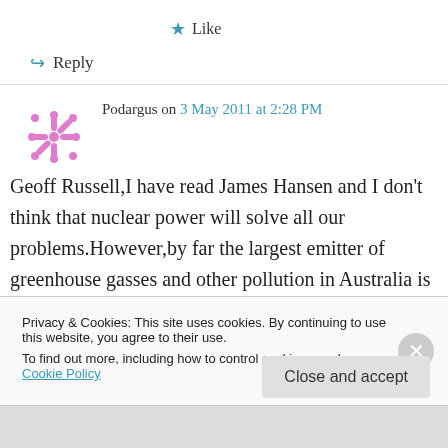★ Like
↪ Reply
Podargus on 3 May 2011 at 2:28 PM
Geoff Russell,I have read James Hansen and I don't think that nuclear power will solve all our problems.However,by far the largest emitter of greenhouse gasses and other pollution in Australia is coal fired electricity generation.This
Privacy & Cookies: This site uses cookies. By continuing to use this website, you agree to their use.
To find out more, including how to control cookies, see here: Cookie Policy
Close and accept